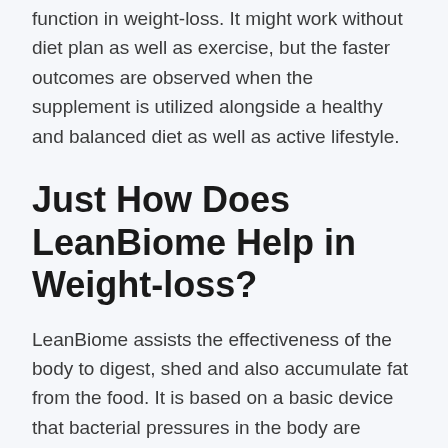function in weight-loss. It might work without diet plan as well as exercise, but the faster outcomes are observed when the supplement is utilized alongside a healthy and balanced diet as well as active lifestyle.
Just How Does LeanBiome Help in Weight-loss?
LeanBiome assists the effectiveness of the body to digest, shed and also accumulate fat from the food. It is based on a basic device that bacterial pressures in the body are associated with digestion as well as weight management. Diet tablets are typically considered as dangerous and high-risk, which is true when you are choosing an